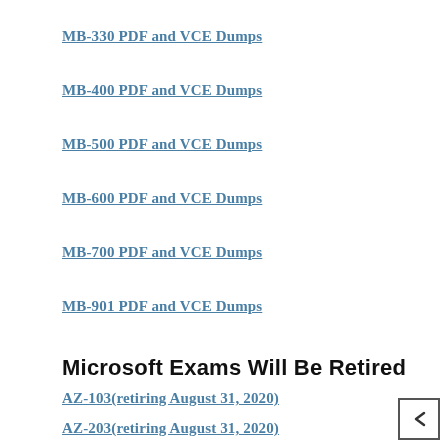MB-330 PDF and VCE Dumps
MB-400 PDF and VCE Dumps
MB-500 PDF and VCE Dumps
MB-600 PDF and VCE Dumps
MB-700 PDF and VCE Dumps
MB-901 PDF and VCE Dumps
Microsoft Exams Will Be Retired
AZ-103(retiring August 31, 2020)
AZ-203(retiring August 31, 2020)